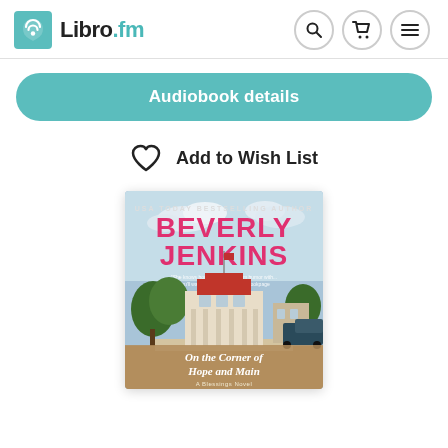Libro.fm
Audiobook details
Add to Wish List
[Figure (illustration): Book cover for 'On the Corner of Hope and Main' by Beverly Jenkins (A Blessings Novel), published by USA Today Bestselling Author Beverly Jenkins. Cover shows a small-town courthouse square with large trees and a red-roofed building, with the title text at the bottom.]